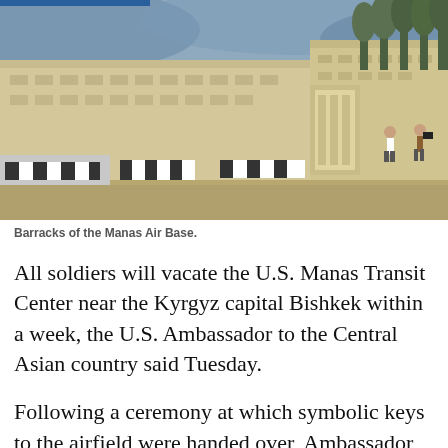[Figure (photo): Exterior view of barracks buildings at the Manas Air Base, with striped road barriers in the foreground and trees in the background. Several people are visible near the building entrance.]
Barracks of the Manas Air Base.
All soldiers will vacate the U.S. Manas Transit Center near the Kyrgyz capital Bishkek within a week, the U.S. Ambassador to the Central Asian country said Tuesday.
Following a ceremony at which symbolic keys to the airfield were handed over, Ambassador Pamela Spratlen said cooperation between the two countries would continue, Interfax reported.